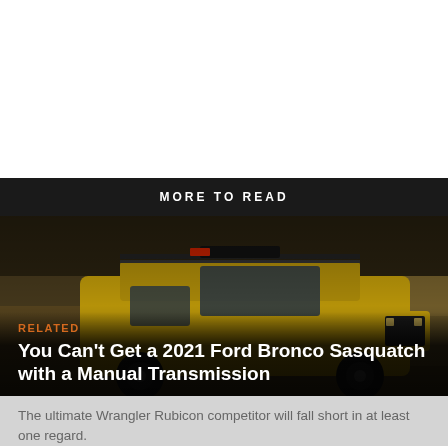[Figure (photo): White blank top area of the page]
MORE TO READ
[Figure (photo): Dark photograph of a yellow 2021 Ford Bronco Sasquatch off-road vehicle with roof rack accessories, parked in a dry brushy landscape]
RELATED
You Can't Get a 2021 Ford Bronco Sasquatch with a Manual Transmission
The ultimate Wrangler Rubicon competitor will fall short in at least one regard.